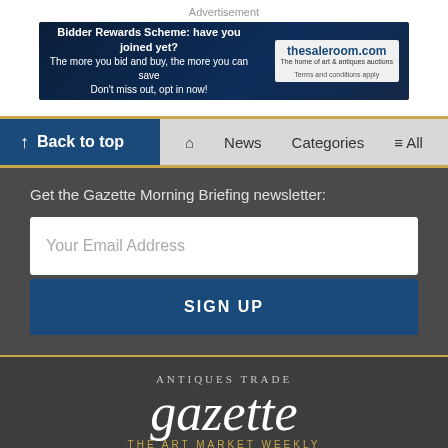Advertisement
[Figure (screenshot): Advertisement banner for thesaleroom.com Bidder Rewards Scheme]
[Figure (screenshot): Navigation bar with Back to top, home, News, Categories, All]
Get the Gazette Morning Briefing newsletter:
Your Email Address
SIGN UP
[Figure (logo): Antiques Trade Gazette - The Art Market Weekly logo]